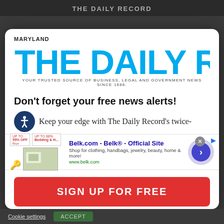THE DAILY RECORD
[Figure (logo): Maryland The Daily Record logo with tagline: YOUR TRUSTED SOURCE OF BUSINESS, LEGAL AND GOVERNMENT NEWS SINCE 1888.]
Don't forget your free news alerts!
Keep your edge with The Daily Record's twice-
[Figure (screenshot): Advertisement banner for Belk.com - Belk® - Official Site. Shop for clothing, handbags, jewelry, beauty, home & more! www.belk.com. Shows promotional banners, a product image, and a navigation arrow button.]
SIGN UP FOR FREE
Cookie settings   ACCEPT